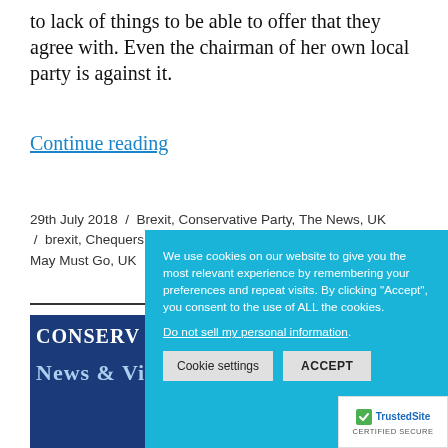to lack of things to be able to offer that they agree with. Even the chairman of her own local party is against it.
Continue reading
29th July 2018 / Brexit, Conservative Party, The News, UK / brexit, Chequers Deal, conservative party, fake Brexit May Must Go, UK
[Figure (screenshot): Cookie consent popup overlay on cyan/teal background with text: We use cookies on our website to give you the most relevant experience by remembering your preferences and repeat visits. By clicking Accept, you consent to the use of ALL the cookies. With buttons: Cookie settings and ACCEPT]
[Figure (screenshot): Conservative News & Views logo on dark navy blue background]
[Figure (logo): TrustedSite Certified Secure badge with green checkmark]